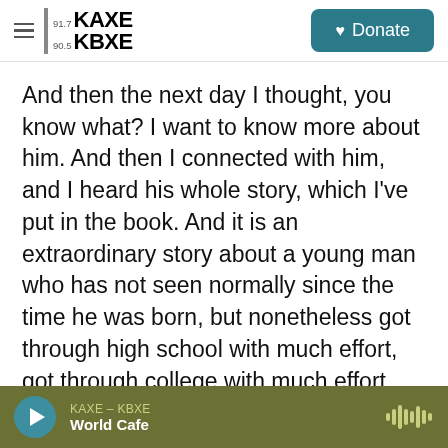KAXE 91.7 KBXE 90.5 | Donate
And then the next day I thought, you know what? I want to know more about him. And then I connected with him, and I heard his whole story, which I've put in the book. And it is an extraordinary story about a young man who has not seen normally since the time he was born, but nonetheless got through high school with much effort, got through college with much effort, was making a very significant career for himself as a manager in the restaurant industry. And not a day goes by when he doesn't struggle to see clearly. And nobody knows that unless they ask him.
KAXE – KBXE | World Cafe